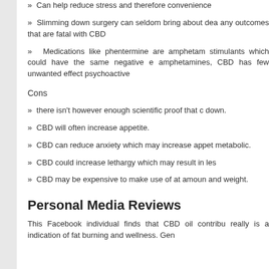» Can help reduce stress and therefore convenience
» Slimming down surgery can seldom bring about dead any outcomes that are fatal with CBD
» Medications like phentermine are amphetamines stimulants which could have the same negative effects as amphetamines, CBD has few unwanted effects and is not psychoactive
Cons
» there isn't however enough scientific proof that CBD aids slimming down.
» CBD will often increase appetite.
» CBD can reduce anxiety which may increase appetite and metabolic.
» CBD could increase lethargy which may result in less activity
» CBD may be expensive to make use of at amounts for height and weight.
Personal Media Reviews
This Facebook individual finds that CBD oil contributes and really is a indication of fat burning and wellness. Genu